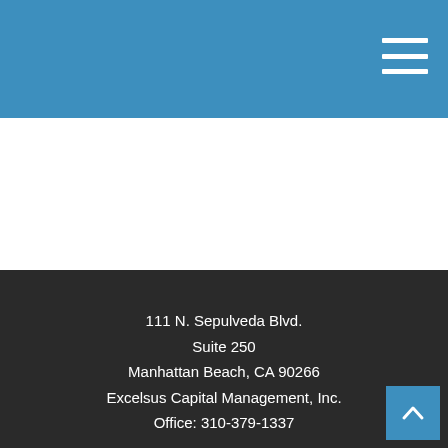111 N. Sepulveda Blvd.
Suite 250
Manhattan Beach, CA 90266
Excelsus Capital Management, Inc.
Office: 310-379-1337
111 N. Sepulveda Blvd. Suite 250 Manhattan Beach, CA 90266 Excelsus Capital Management, Inc.